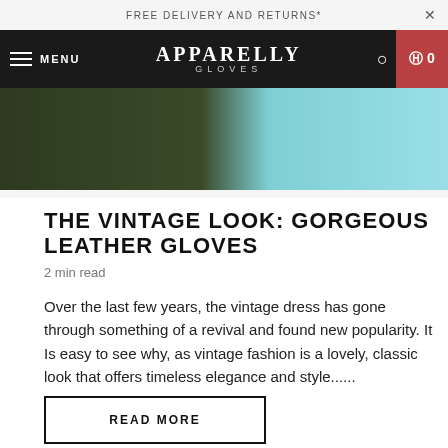FREE DELIVERY AND RETURNS*
APPARELLY GLOVES
[Figure (photo): Partial hero banner showing dark/teal clothing draped over background]
THE VINTAGE LOOK: GORGEOUS LEATHER GLOVES
2 min read
Over the last few years, the vintage dress has gone through something of a revival and found new popularity. It Is easy to see why, as vintage fashion is a lovely, classic look that offers timeless elegance and style......
READ MORE
[Figure (photo): Bottom partial photo showing a light floral/nature background with greenery]